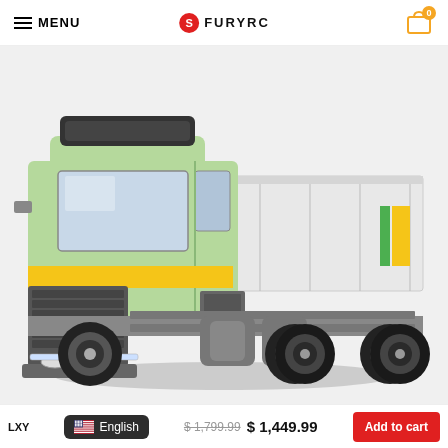MENU  FURYRC  0
[Figure (photo): RC model truck — a light green Mercedes-Benz style dump truck with yellow stripe, white rear tipper body, gray undercarriage and black tires, displayed against a light gray background.]
LXY  English  $ 1,799.99  $ 1,449.99  Add to cart